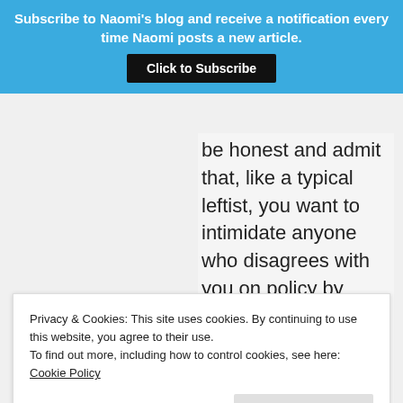Subscribe to Naomi's blog and receive a notification every time Naomi posts a new article.
Click to Subscribe
be honest and admit that, like a typical leftist, you want to intimidate anyone who disagrees with you on policy by demonization, and that anyone who
Privacy & Cookies: This site uses cookies. By continuing to use this website, you agree to their use.
To find out more, including how to control cookies, see here: Cookie Policy
Close and accept
conservatives